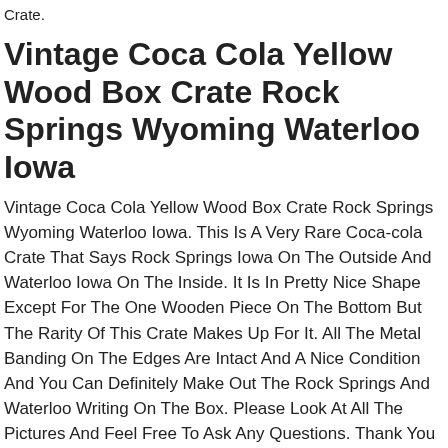Crate.
Vintage Coca Cola Yellow Wood Box Crate Rock Springs Wyoming Waterloo Iowa
Vintage Coca Cola Yellow Wood Box Crate Rock Springs Wyoming Waterloo Iowa. This Is A Very Rare Coca-cola Crate That Says Rock Springs Iowa On The Outside And Waterloo Iowa On The Inside. It Is In Pretty Nice Shape Except For The One Wooden Piece On The Bottom But The Rarity Of This Crate Makes Up For It. All The Metal Banding On The Edges Are Intact And A Nice Condition And You Can Definitely Make Out The Rock Springs And Waterloo Writing On The Box. Please Look At All The Pictures And Feel Free To Ask Any Questions. Thank You
Yellow Antique Vintage Coca-cola Wooden 24 Bottle Crate Case &